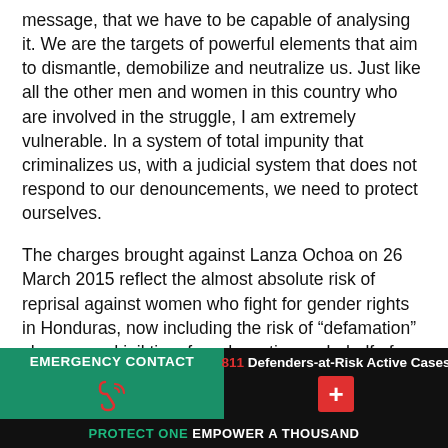message, that we have to be capable of analysing it. We are the targets of powerful elements that aim to dismantle, demobilize and neutralize us. Just like all the other men and women in this country who are involved in the struggle, I am extremely vulnerable. In a system of total impunity that criminalizes us, with a judicial system that does not respond to our denouncements, we need to protect ourselves.
The charges brought against Lanza Ochoa on 26 March 2015 reflect the almost absolute risk of reprisal against women who fight for gender rights in Honduras, now including the risk of “defamation” charges and jail time for advocating on behalf of alleged victims of sexual harassment. Front Line Defenders is gravely concerned at
EMERGENCY CONTACT | 811 Defenders-at-Risk Active Cases | PROTECT ONE EMPOWER A THOUSAND